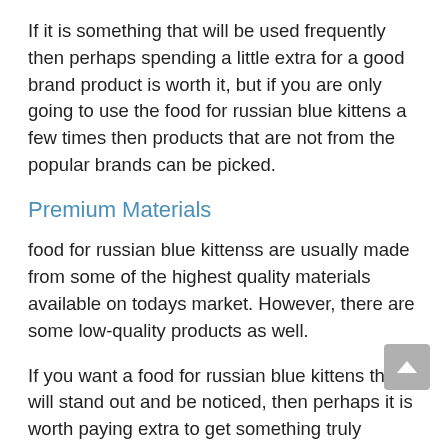If it is something that will be used frequently then perhaps spending a little extra for a good brand product is worth it, but if you are only going to use the food for russian blue kittens a few times then products that are not from the popular brands can be picked.
Premium Materials
food for russian blue kittenss are usually made from some of the highest quality materials available on todays market. However, there are some low-quality products as well.
If you want a food for russian blue kittens that will stand out and be noticed, then perhaps it is worth paying extra to get something truly special! If not, go for a balanced product that